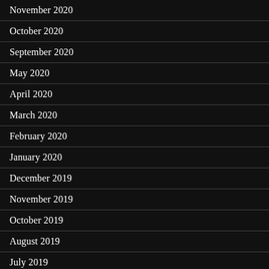November 2020
October 2020
September 2020
May 2020
April 2020
March 2020
February 2020
January 2020
December 2019
November 2019
October 2019
August 2019
July 2019